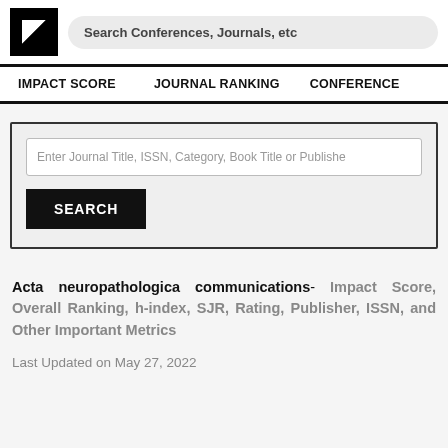Search Conferences, Journals, etc
IMPACT SCORE   JOURNAL RANKING   CONFERENCE
Enter Journal Title, ISSN, Category, Book Title or Publisher
SEARCH
Acta neuropathologica communications- Impact Score, Overall Ranking, h-index, SJR, Rating, Publisher, ISSN, and Other Important Metrics
Last Updated on May 27, 2022